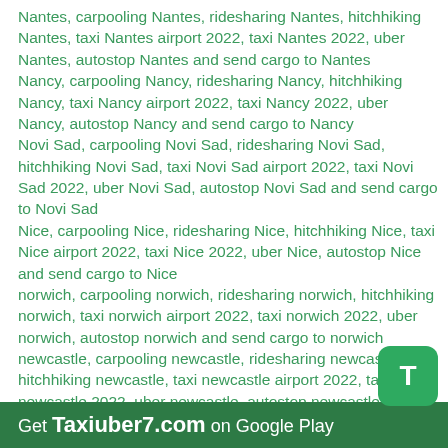Nantes, carpooling Nantes, ridesharing Nantes, hitchhiking Nantes, taxi Nantes airport 2022, taxi Nantes 2022, uber Nantes, autostop Nantes and send cargo to Nantes
Nancy, carpooling Nancy, ridesharing Nancy, hitchhiking Nancy, taxi Nancy airport 2022, taxi Nancy 2022, uber Nancy, autostop Nancy and send cargo to Nancy
Novi Sad, carpooling Novi Sad, ridesharing Novi Sad, hitchhiking Novi Sad, taxi Novi Sad airport 2022, taxi Novi Sad 2022, uber Novi Sad, autostop Novi Sad and send cargo to Novi Sad
Nice, carpooling Nice, ridesharing Nice, hitchhiking Nice, taxi Nice airport 2022, taxi Nice 2022, uber Nice, autostop Nice and send cargo to Nice
norwich, carpooling norwich, ridesharing norwich, hitchhiking norwich, taxi norwich airport 2022, taxi norwich 2022, uber norwich, autostop norwich and send cargo to norwich
newcastle, carpooling newcastle, ridesharing newcastle, hitchhiking newcastle, taxi newcastle airport 2022, taxi newcastle 2022, uber newcastle, autostop newcastle and send cargo to newcastle
nottingham, carpooling nottingham, ridesharing nottingham, hitchhiking nottingham, taxi nottingham
Get Taxiuber7.com on Google Play